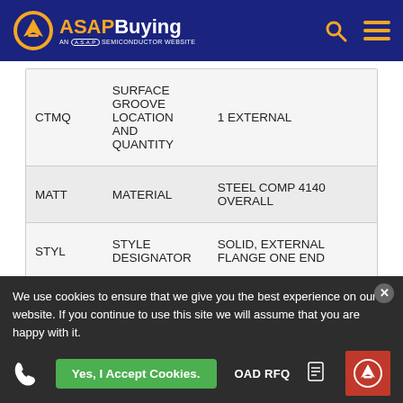ASAP Buying - AN A.S.A.P SEMICONDUCTOR WEBSITE
| Code | Description | Value |
| --- | --- | --- |
| CTMQ | SURFACE GROOVE LOCATION AND QUANTITY | 1 EXTERNAL |
| MATT | MATERIAL | STEEL COMP 4140 OVERALL |
| STYL | STYLE DESIGNATOR | SOLID, EXTERNAL FLANGE ONE END |
We use cookies to ensure that we give you the best experience on our website. If you continue to use this site we will assume that you are happy with it.